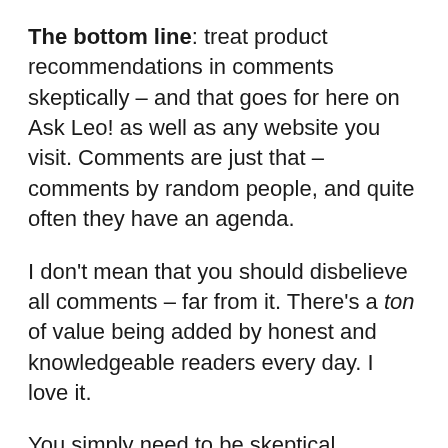The bottom line: treat product recommendations in comments skeptically – and that goes for here on Ask Leo! as well as any website you visit. Comments are just that – comments by random people, and quite often they have an agenda.
I don't mean that you should disbelieve all comments – far from it. There's a ton of value being added by honest and knowledgeable readers every day. I love it.
You simply need to be skeptical. Evaluate what you read. Don't buy or